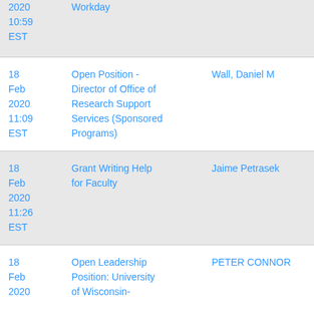| Date | Description | Name |
| --- | --- | --- |
| 2020
10:59
EST | Workday |  |
| 18 Feb 2020
11:09
EST | Open Position - Director of Office of Research Support Services (Sponsored Programs) | Wall, Daniel M |
| 18 Feb 2020
11:26
EST | Grant Writing Help for Faculty | Jaime Petrasek |
| 18 Feb 2020 | Open Leadership Position: University of Wisconsin- | PETER CONNOR |